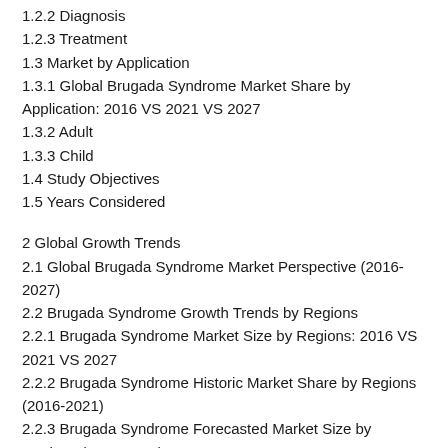1.2.2 Diagnosis
1.2.3 Treatment
1.3 Market by Application
1.3.1 Global Brugada Syndrome Market Share by Application: 2016 VS 2021 VS 2027
1.3.2 Adult
1.3.3 Child
1.4 Study Objectives
1.5 Years Considered
2 Global Growth Trends
2.1 Global Brugada Syndrome Market Perspective (2016-2027)
2.2 Brugada Syndrome Growth Trends by Regions
2.2.1 Brugada Syndrome Market Size by Regions: 2016 VS 2021 VS 2027
2.2.2 Brugada Syndrome Historic Market Share by Regions (2016-2021)
2.2.3 Brugada Syndrome Forecasted Market Size by Regions (2022-2027)